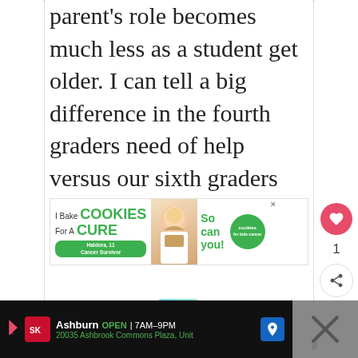parent's role becomes much less as a student get older. I can tell a big difference in the fourth graders need of help versus our sixth graders need of my help.
[Figure (infographic): Advertisement banner for 'I Bake Cookies for a Cure' cookies for kids cancer charity campaign, featuring text and a photo of a child.]
[Figure (infographic): Heart favorite button showing 1 like, and a share button below it.]
[Figure (infographic): What's Next section showing '7 Things I've Learned Sin...' article thumbnail and title.]
[Figure (infographic): Bottom advertisement bar for Smoothie King at Ashburn, OPEN 7AM-9PM, 20035 Ashbrook Commons Plaza, Unit with navigation icon and close X button.]